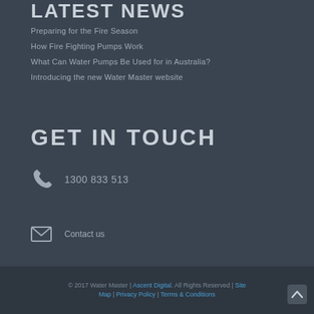LATEST NEWS
Preparing for the Fire Season
How Fire Fighting Pumps Work
What Can Water Pumps Be Used for in Australia?
Introducing the new Water Master website
GET IN TOUCH
1300 833 513
Contact us
© 2017 Water Master | Ascent Digital. All Rights Reserved | Site Map | Privacy Policy | Terms & Conditions